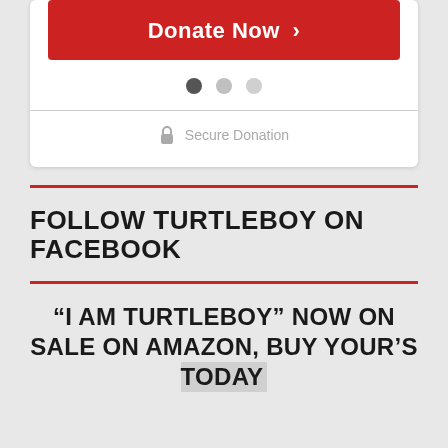[Figure (screenshot): Red Donate Now button with right arrow]
[Figure (other): Carousel dots: one filled dark, two empty gray]
Secure Donation
FOLLOW TURTLEBOY ON FACEBOOK
“I AM TURTLEBOY” NOW ON SALE ON AMAZON, BUY YOUR’S TODAY